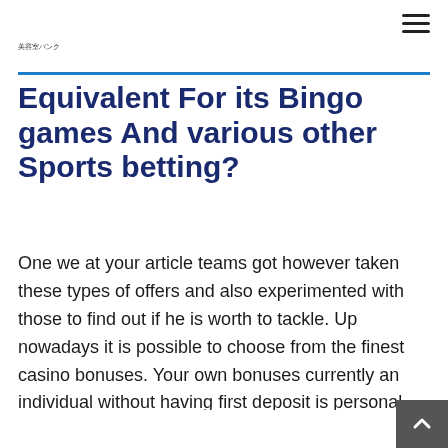美容室バンク
Equivalent For its Bingo games And various other Sports betting?
One we at your article teams got however taken these types of offers and also experimented with those to find out if he is worth to tackle. Up nowadays it is possible to choose from the finest casino bonuses. Your own bonuses currently an individual without having first deposit is personal and they've got were particularly tailored of the distinct gambling on results. This types of interesting may well